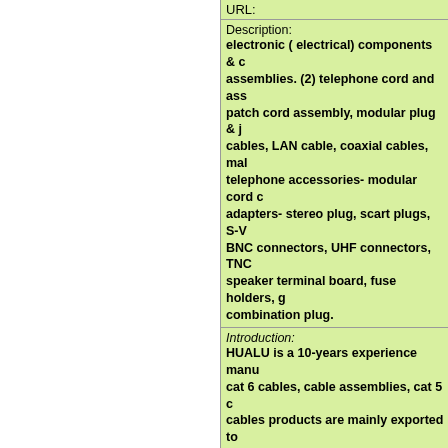URL:
Description: electronic ( electrical) components & c assemblies. (2) telephone cord and ass patch cord assembly, modular plug & j cables, LAN cable, coaxial cables, mal telephone accessories- modular cord c adapters- stereo plug, scart plugs, S-V BNC connectors, UHF connectors, TNC speaker terminal board, fuse holders, g combination plug.
Introduction: HUALU is a 10-years experience manu cat 6 cables, cable assemblies, cat 5 c cables products are mainly exported to can guarantee to offer you satisfactory efficient service to all our customers. C
Categories: POS Terminal Manufacturer Microphones  Microphone Manufacturers Connectors  RCA Connectors  Speaker C Jacks  DC Power Jacks  Din Jacks  Mo Cat 5e Cables  Cat 6 Cables  Scart Cab Cords  Cable Clips  Component Speake Plug Fuses  BNC Adapters  Modular Ada Speakers  AV cables  Cable Clamps  Pa Audio Cable Manufacturers  Audio Cable UHF Antennas  Phone Jack Manufacture
Country: China
::: Contact :::
Contact Person: Mr. Sales Service